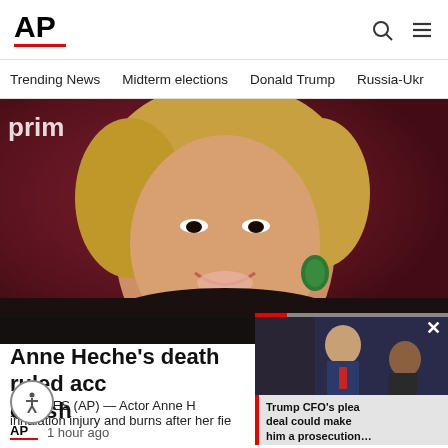AP
Trending News | Midterm elections | Donald Trump | Russia-Ukr
[Figure (photo): AP News website screenshot showing blonde woman smiling at Prime Video event against dark red background]
Anne Heche’s death ruled acc[idental from] c[ar] crash
L[OS A]NGELES (AP) — Actor Anne H[eche died from] inhalation injury and burns after her fie[ry car crash]
[Figure (screenshot): Floating video thumbnail showing Donald Trump with another man, with progress bar and close button, overlaid by Trump CFO news teaser]
Trump CFO’s plea deal could make him a prosecution…
1 hour ago